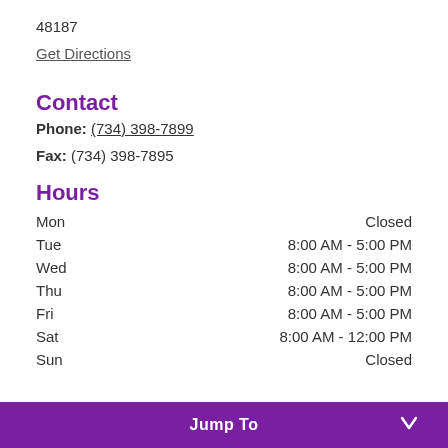48187
Get Directions
Contact
Phone: (734) 398-7899
Fax: (734) 398-7895
Hours
| Day | Hours |
| --- | --- |
| Mon | Closed |
| Tue | 8:00 AM - 5:00 PM |
| Wed | 8:00 AM - 5:00 PM |
| Thu | 8:00 AM - 5:00 PM |
| Fri | 8:00 AM - 5:00 PM |
| Sat | 8:00 AM - 12:00 PM |
| Sun | Closed |
Jump To